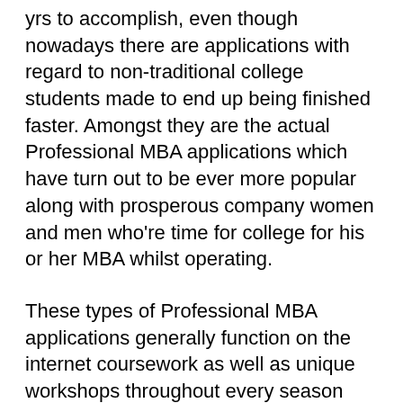yrs to accomplish, even though nowadays there are applications with regard to non-traditional college students made to end up being finished faster. Amongst they are the actual Professional MBA applications which have turn out to be ever more popular along with prosperous company women and men who're time for college for his or her MBA whilst operating.
These types of Professional MBA applications generally function on the internet coursework as well as unique workshops throughout every season which are fairly brief long however really rigorous. By doing this, they may be proved helpful to the agendas associated with hectic professionals. These types of applications